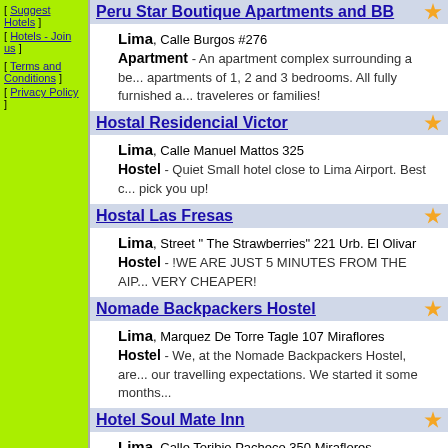[ Suggest Hotels ]
[ Hotels - Join us ]
[ Terms and Conditions ]
[ Privacy Policy ]
Peru Star Boutique Apartments and BB
Lima, Calle Burgos #276. Apartment - An apartment complex surrounding a be... apartments of 1, 2 and 3 bedrooms. All fully furnished a... traveleres or families!
Hostal Residencial Victor
Lima, Calle Manuel Mattos 325. Hostel - Quiet Small hotel close to Lima Airport. Best c... pick you up!
Hostal Las Fresas
Lima, Street "The Strawberries" 221 Urb. El Olivar. Hostel - !WE ARE JUST 5 MINUTES FROM THE AIP... VERY CHEAPER!
Nomade Backpackers Hostel
Lima, Marquez De Torre Tagle 107 Miraflores. Hostel - We, at the Nomade Backpackers Hostel, are... our travelling expectations. We started it some months...
Hotel Soul Mate Inn
Lima, Calle Toribio Pacheco 350 Miraflores. Hotel - HOTEL SOUL MATE INN *** YOUR DREAME...
Backpackers 335
Lima, Calle Piura N°335, Miraflores. Guesthouse - Welcome to the cozy "335 BACKPACK... 335 you are always well fed and you have a truly funny...